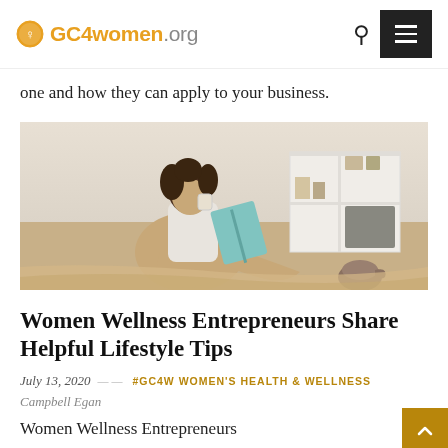GC4women.org
one and how they can apply to your business.
[Figure (photo): Woman sitting on a bed, reading a book and drinking from a cup, with a white shelving unit and various items in the background]
Women Wellness Entrepreneurs Share Helpful Lifestyle Tips
July 13, 2020  —  #GC4W WOMEN'S HEALTH & WELLNESS  Campbell Egan
Women Wellness Entrepreneurs